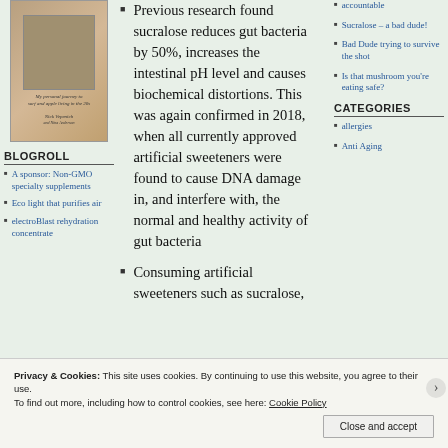[Figure (illustration): Book cover image thumbnail]
BLOGROLL
A sponsor: Non-GMO specialty supplements
Eco light that purifies air
electroBlast rehydration concentrate
Previous research found sucralose reduces gut bacteria by 50%, increases the intestinal pH level and causes biochemical distortions. This was again confirmed in 2018, when all currently approved artificial sweeteners were found to cause DNA damage in, and interfere with, the normal and healthy activity of gut bacteria
Consuming artificial sweeteners such as sucralose,
accountable
Sucralose – a bad dude!
Bad Dude trying to survive the shot
Is that mushroom you're eating safe?
CATEGORIES
allergies
Anti Aging
Privacy & Cookies: This site uses cookies. By continuing to use this website, you agree to their use.
To find out more, including how to control cookies, see here: Cookie Policy